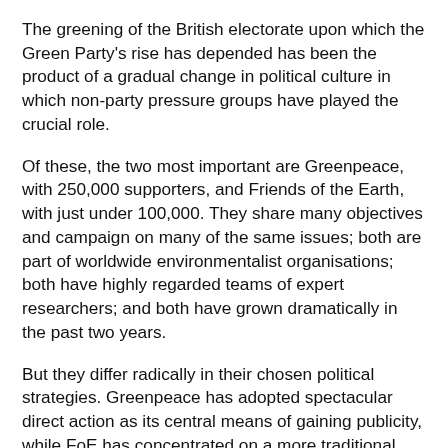The greening of the British electorate upon which the Green Party's rise has depended has been the product of a gradual change in political culture in which non-party pressure groups have played the crucial role.
Of these, the two most important are Greenpeace, with 250,000 supporters, and Friends of the Earth, with just under 100,000. They share many objectives and campaign on many of the same issues; both are part of worldwide environmentalist organisations; both have highly regarded teams of expert researchers; and both have grown dramatically in the past two years.
But they differ radically in their chosen political strategies. Greenpeace has adopted spectacular direct action as its central means of gaining publicity, while FoE has concentrated on a more traditional pressure group role, aiming, in the words of Jonathon Porritt, its current director, "to provide accessible, authoritative information; to target politicians and other decision-makers to bring about appropriate policy changes; and to promote positive, sustainable alternatives to those policies which now so